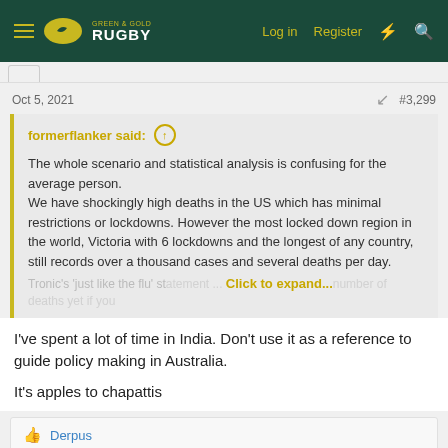Green & Gold Rugby — Log in  Register
Oct 5, 2021  #3,299
formerflanker said: ↑
The whole scenario and statistical analysis is confusing for the average person.
We have shockingly high deaths in the US which has minimal restrictions or lockdowns. However the most locked down region in the world, Victoria with 6 lockdowns and the longest of any country, still records over a thousand cases and several deaths per day.
Tronic's 'just like the flu' statement ... number of deaths yet if you
Click to expand...
I've spent a lot of time in India. Don't use it as a reference to guide policy making in Australia.

It's apples to chapattis
👍 Derpus